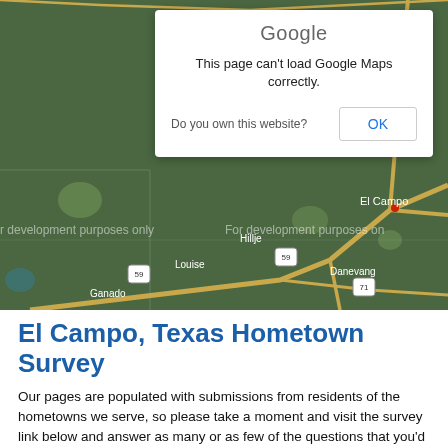[Figure (map): Google Maps screenshot showing El Campo, Texas area with roads and towns including El Campo, Hillje, Louise, Danevang, and Ganado. A Google Maps error dialog overlays the top portion with message 'This page can't load Google Maps correctly.' and an OK button. Watermark text reads 'For development purposes only'.]
El Campo, Texas Hometown Survey
Our pages are populated with submissions from residents of the hometowns we serve, so please take a moment and visit the survey link below and answer as many or as few of the questions that you'd like to. The answers to these questions will be tallied and posted here periodically.